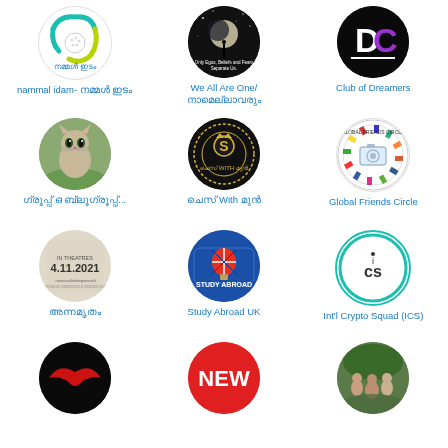[Figure (logo): nammal idam app icon - circular logo with blue/green swirl and golf ball]
nammal idam- നമ്മൾ ഇടം
[Figure (photo): We All Are One group icon - person under moon with text 'Only Egos, Beliefs and Fears Separate Us.']
We All Are One/ നാമെല്ലാവരും
[Figure (logo): Club of Dreamers icon - DC letters in purple on black]
Club of Dreamers
[Figure (illustration): Cute cartoon cat/kitten figurine on grass]
ഗ്രൂപ്പ് ഒ ബ്ലൂഗ്രൂപ്പ്...
[Figure (logo): Chess With group icon - dark circular emblem with chess piece and text]
ചെസ് With മുൻ
[Figure (logo): Global Friends Circle icon - circular badge with world flags]
Global Friends Circle
[Figure (photo): Movie poster showing 4.11.2021 In Theatres]
അന്നമൃതം
[Figure (logo): Study Abroad UK icon - blue background with hot air balloon and UK flag]
Study Abroad UK
[Figure (logo): ICS International Crypto Squad icon - teal circle with ics text]
Int'l Crypto Squad (ICS)
[Figure (logo): Bottom left - black circle with red bird/wings logo]
[Figure (logo): Bottom center - red circle with NEW text in white]
[Figure (photo): Bottom right - group of people outdoors]